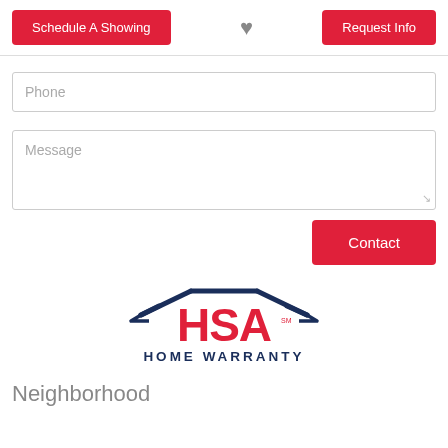[Figure (screenshot): Top navigation bar with Schedule A Showing button (red), heart icon (gray), and Request Info button (red)]
Phone
Message
Contact
[Figure (logo): HSA Home Warranty logo with house roof graphic in navy, HSA letters in red, and HOME WARRANTY text in navy below]
Neighborhood